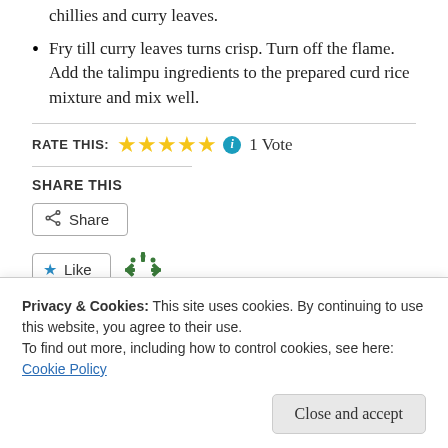chillies and curry leaves.
Fry till curry leaves turns crisp. Turn off the flame. Add the talimpu ingredients to the prepared curd rice mixture and mix well.
RATE THIS: ★★★★★ ⓘ 1 Vote
SHARE THIS
Share
Like
One blogger likes this.
Privacy & Cookies: This site uses cookies. By continuing to use this website, you agree to their use.
To find out more, including how to control cookies, see here:
Cookie Policy
Close and accept